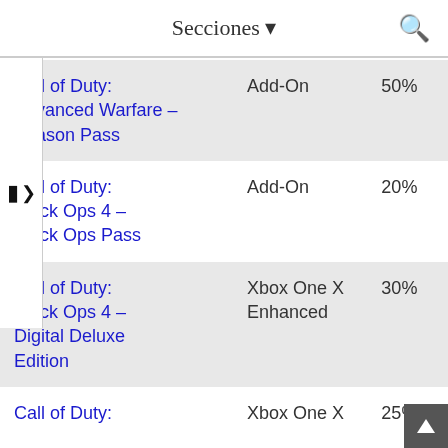Secciones ▼
| Name | Type | Discount |
| --- | --- | --- |
| Call of Duty: Advanced Warfare – Season Pass | Add-On | 50% |
| Call of Duty: Black Ops 4 – Black Ops Pass | Add-On | 20% |
| Call of Duty: Black Ops 4 – Digital Deluxe Edition | Xbox One X Enhanced | 30% |
| Call of Duty: | Xbox One X | 25% |